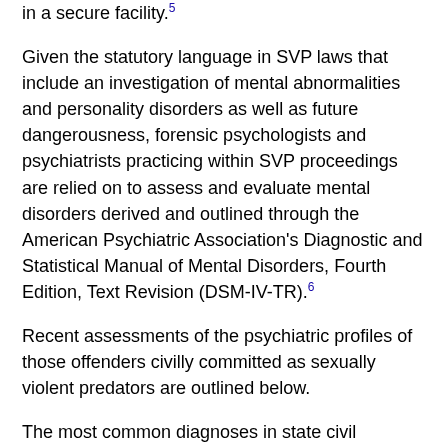in a secure facility.5
Given the statutory language in SVP laws that include an investigation of mental abnormalities and personality disorders as well as future dangerousness, forensic psychologists and psychiatrists practicing within SVP proceedings are relied on to assess and evaluate mental disorders derived and outlined through the American Psychiatric Association's Diagnostic and Statistical Manual of Mental Disorders, Fourth Edition, Text Revision (DSM-IV-TR).6
Recent assessments of the psychiatric profiles of those offenders civilly committed as sexually violent predators are outlined below.
The most common diagnoses in state civil commitment SVP proceedings include pedophilia; antisocial personality disorder; paraphilia not otherwise specified (NOS), in particular nonconsent rape and hebephilia types; personality disorder NOS; and substance abuse disorders.7 Unfortunately, the majority of studies addressing